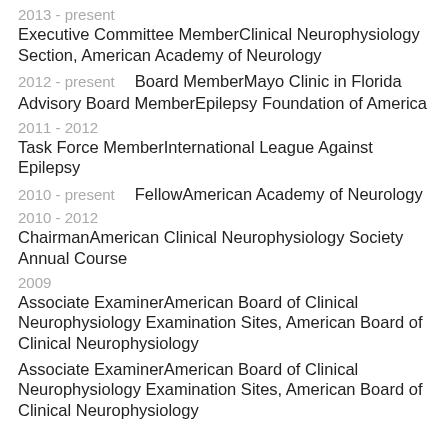2013 - present
Executive Committee MemberClinical Neurophysiology Section, American Academy of Neurology
2012 - present  Board MemberMayo Clinic in Florida
Advisory Board MemberEpilepsy Foundation of America
2011 - 2012
Task Force MemberInternational League Against Epilepsy
2010 - present  FellowAmerican Academy of Neurology
2010 - 2012
ChairmanAmerican Clinical Neurophysiology Society Annual Course
2009
Associate ExaminerAmerican Board of Clinical Neurophysiology Examination Sites, American Board of Clinical Neurophysiology
Associate ExaminerAmerican Board of Clinical Neurophysiology Examination Sites, American Board of Clinical Neurophysiology